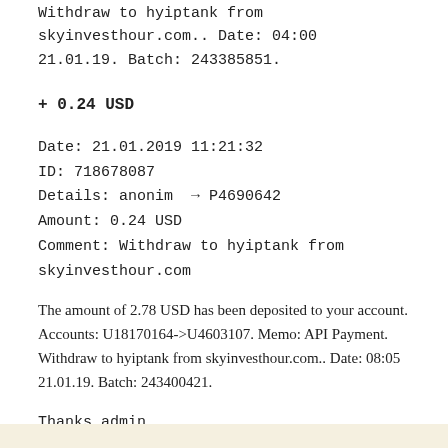Withdraw to hyiptank from skyinvesthour.com.. Date: 04:00 21.01.19. Batch: 243385851.
+ 0.24 USD
Date: 21.01.2019 11:21:32
ID: 718678087
Details: anonim → P4690642
Amount: 0.24 USD
Comment: Withdraw to hyiptank from skyinvesthour.com
The amount of 2.78 USD has been deposited to your account. Accounts: U18170164->U4603107. Memo: API Payment. Withdraw to hyiptank from skyinvesthour.com.. Date: 08:05 21.01.19. Batch: 243400421.
Thanks admin
Quote